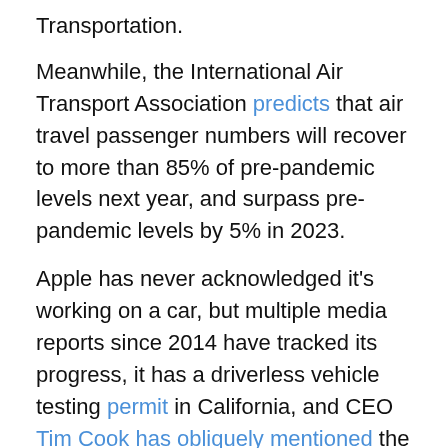Transportation.
Meanwhile, the International Air Transport Association predicts that air travel passenger numbers will recover to more than 85% of pre-pandemic levels next year, and surpass pre-pandemic levels by 5% in 2023.
Apple has never acknowledged it's working on a car, but multiple media reports since 2014 have tracked its progress, it has a driverless vehicle testing permit in California, and CEO Tim Cook has obliquely mentioned the company's interest.
Regardless, the threat of the well-capitalized tech titan introducing an electric, driverless car has automotive and tech investors on notice.
In a note out Wednesday, Morgan Stanley equity analysts Katy L. Huberty and Adam Jonas talked about